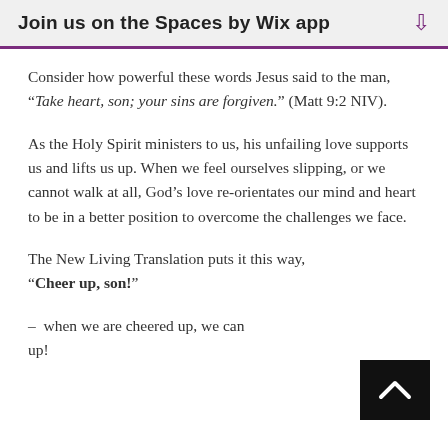Join us on the Spaces by Wix app
Consider how powerful these words Jesus said to the man, “Take heart, son; your sins are forgiven.” (Matt 9:2 NIV).
As the Holy Spirit ministers to us, his unfailing love supports us and lifts us up. When we feel ourselves slipping, or we cannot walk at all, God’s love re-orientates our mind and heart to be in a better position to overcome the challenges we face.
The New Living Translation puts it this way, “Cheer up, son!”
–  when we are cheered up, we can up!